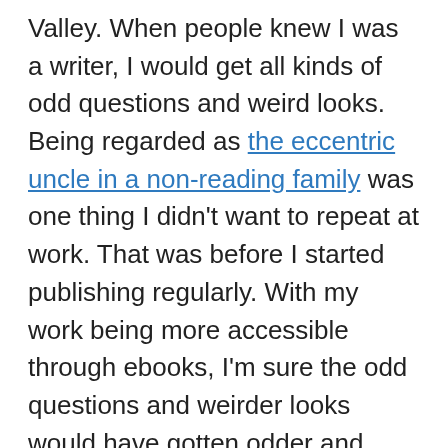Valley. When people knew I was a writer, I would get all kinds of odd questions and weird looks. Being regarded as the eccentric uncle in a non-reading family was one thing I didn't want to repeat at work. That was before I started publishing regularly. With my work being more accessible through ebooks, I'm sure the odd questions and weirder looks would have gotten odder and weirder if I wasn't hiding behind a secret identity.
Now that I'm doing contract work after being unemployed for two years, no one knows I'm a writer when I show up for a new assignment. More specifically, I'm a Silicon Valley fiction